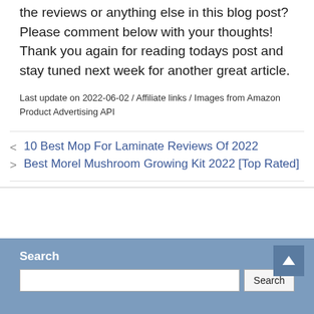the reviews or anything else in this blog post? Please comment below with your thoughts! Thank you again for reading todays post and stay tuned next week for another great article.
Last update on 2022-06-02 / Affiliate links / Images from Amazon Product Advertising API
< 10 Best Mop For Laminate Reviews Of 2022
> Best Morel Mushroom Growing Kit 2022 [Top Rated]
Search
Search